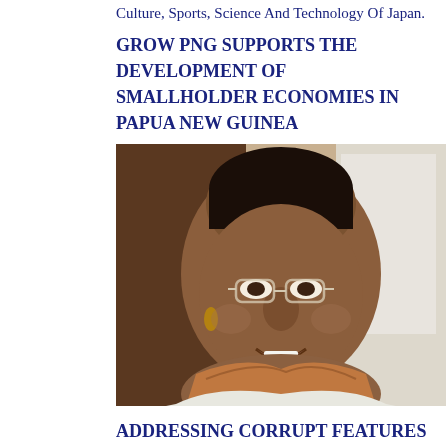Culture, Sports, Science And Technology Of Japan.
GROW PNG SUPPORTS THE DEVELOPMENT OF SMALLHOLDER ECONOMIES IN PAPUA NEW GUINEA
[Figure (photo): Portrait photo of a dark-skinned woman wearing glasses and a scarf, smiling.]
ADDRESSING CORRUPT FEATURES OF PAPUA NEW GUINEA POLITICS – By Dulciana Somare Brash
[Figure (photo): Partial photo showing a blurred interior scene, bottom of page.]